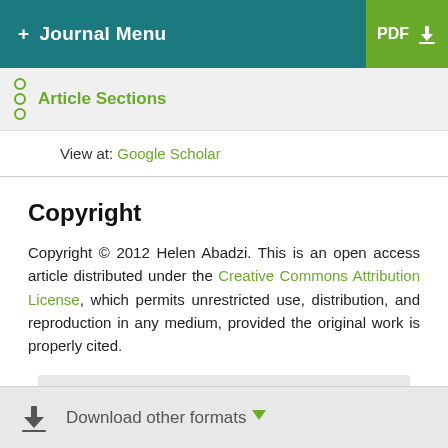+ Journal Menu | PDF ↓
Article Sections
View at: Google Scholar
Copyright
Copyright © 2012 Helen Abadzi. This is an open access article distributed under the Creative Commons Attribution License, which permits unrestricted use, distribution, and reproduction in any medium, provided the original work is properly cited.
Download other formats